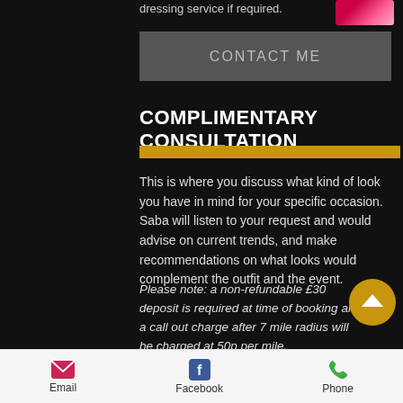dressing service if required.
[Figure (photo): Decorative photo of red floral or fabric in top right corner]
CONTACT ME
COMPLIMENTARY CONSULTATION
This is where you discuss what kind of look you have in mind for your specific occasion. Saba will listen to your request and would advise on current trends, and make recommendations on what looks would complement the outfit and the event.
Please note: a non-refundable £30 deposit is required at time of booking and a call out charge after 7 mile radius will be charged at 50p per mile.
Email   Facebook   Phone